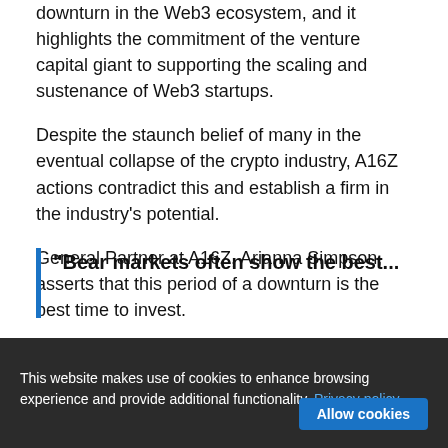downturn in the Web3 ecosystem, and it highlights the commitment of the venture capital giant to supporting the scaling and sustenance of Web3 startups.
Despite the staunch belief of many in the eventual collapse of the crypto industry, A16Z actions contradict this and establish a firm in the industry's potential.
General Partner at A16Z, Arianna Simpson, asserts that this period of a downturn is the best time to invest.
In her words:
"Bear markets often show the best...
This website makes use of cookies to enhance browsing experience and provide additional functionality. Privacy policy